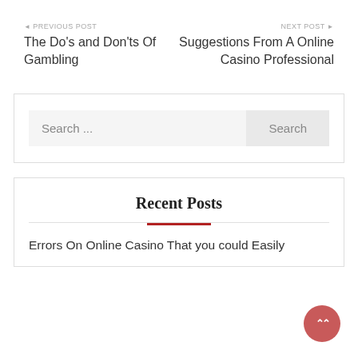◄ PREVIOUS POST
The Do's and Don'ts Of Gambling
NEXT POST ►
Suggestions From A Online Casino Professional
Search ...
Recent Posts
Errors On Online Casino That you could Easily